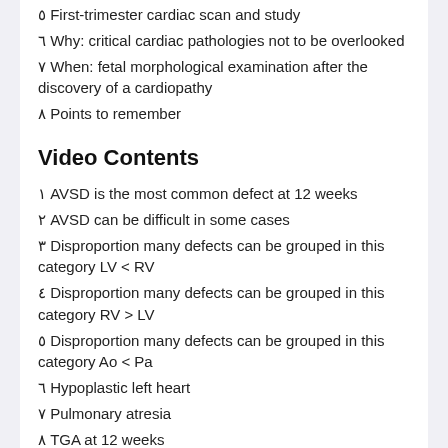٥ First-trimester cardiac scan and study
٦ Why: critical cardiac pathologies not to be overlooked
٧ When: fetal morphological examination after the discovery of a cardiopathy
٨ Points to remember
Video Contents
١ AVSD is the most common defect at 12 weeks
٢ AVSD can be difficult in some cases
٣ Disproportion many defects can be grouped in this category LV < RV
٤ Disproportion many defects can be grouped in this category RV > LV
٥ Disproportion many defects can be grouped in this category Ao < Pa
٦ Hypoplastic left heart
٧ Pulmonary atresia
٨ TGA at 12 weeks
٩ TOF at 12 weeks
١٠ TOF can be the most difficult defect to diagnose at 12